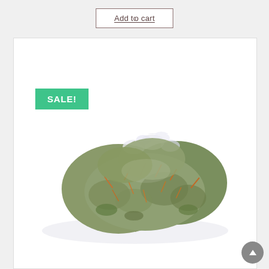Add to cart
[Figure (photo): Cannabis flower bud on white background with SALE! badge overlay]
SALE!